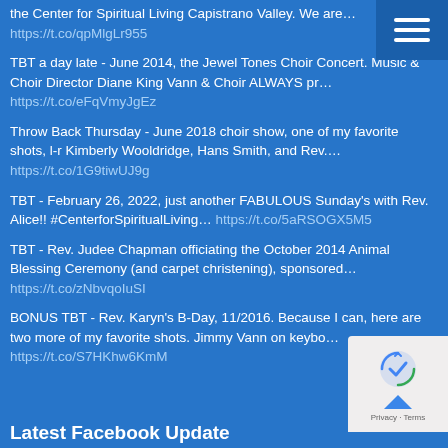the Center for Spiritual Living Capistrano Valley. We are… https://t.co/qpMlgLr955
TBT a day late - June 2014, the Jewel Tones Choir Concert. Music & Choir Director Diane King Vann & Choir ALWAYS pr… https://t.co/eFqVmyJgEz
Throw Back Thursday - June 2018 choir show, one of my favorite shots, l-r Kimberly Wooldridge, Hans Smith, and Rev.… https://t.co/1G9tiwUJ9g
TBT - February 26, 2022, just another FABULOUS Sunday's with Rev. Alice!! #CenterforSpiritualLiving… https://t.co/5aRSOGX5M5
TBT - Rev. Judee Chapman officiating the October 2014 Animal Blessing Ceremony (and carpet christening), sponsored… https://t.co/zNbvqoIuSI
BONUS TBT - Rev. Karyn's B-Day, 11/2016. Because I can, here are two more of my favorite shots. Jimmy Vann on keybo… https://t.co/S7HKhw6KmM
Latest Facebook Update